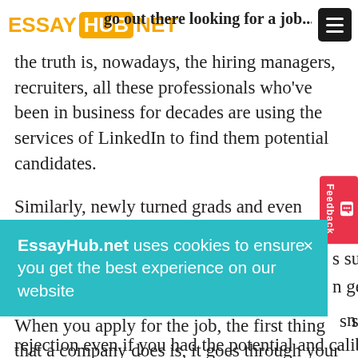ESSAYHUB NET
the truth is, nowadays, the hiring managers, recruiters, all these professionals who've been in business for decades are using the services of LinkedIn to find them potential candidates.
Similarly, newly turned grads and even people with work experience come to find jobs and people that can be beneficial for them in the growth of their career.
When you apply for the job, the first thing that a company does is, it goes through your resume. And if they're considering hiring you. Then they come
EssayHub.net uses cookies to ensure you get the best experience on our website
s such that a n get you a rejection even if you had the potential and caliber